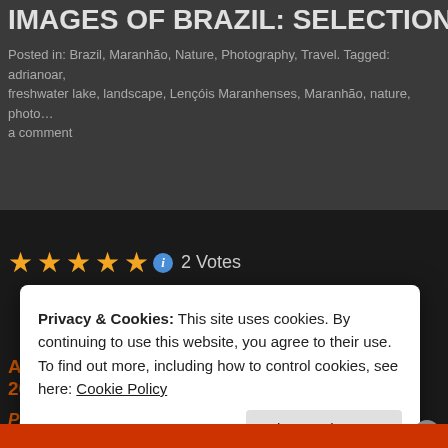IMAGES OF BRAZIL: SELECTION 2
Posted in: Brazil, Maranhão, Nature, Photography, Travel. Tagged: adrianoar, freshwater lake, landscape, Lençóis Maranhenses, Maranhão, nature, photo… a comment
★★★★★ ⓘ 2 Votes
A selection of photographs taken in Brazil in 2007.
Part 30:
Lençóis Maranhenses (MA) – Freshwater lake and dunes
Privacy & Cookies: This site uses cookies. By continuing to use this website, you agree to their use.
To find out more, including how to control cookies, see here: Cookie Policy
Close and accept